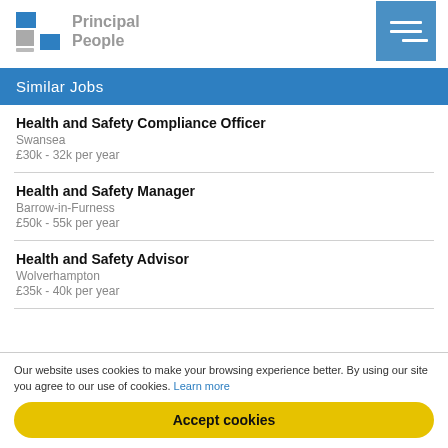Principal People
Similar Jobs
Health and Safety Compliance Officer
Swansea
£30k - 32k per year
Health and Safety Manager
Barrow-in-Furness
£50k - 55k per year
Health and Safety Advisor
Wolverhampton
£35k - 40k per year
Our website uses cookies to make your browsing experience better. By using our site you agree to our use of cookies. Learn more
Accept cookies